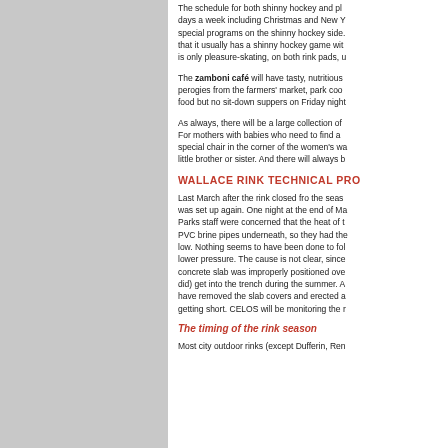The schedule for both shinny hockey and pleasure-skating is seven days a week including Christmas and New Year's. There will be special programs on the shinny hockey side. The rule of thumb is that it usually has a shinny hockey game with a full rink, and on the other side is only pleasure-skating, on both rink pads, until further notice.
The zamboni café will have tasty, nutritious meals including perogies from the farmers' market, park cooked food and take-out food but no sit-down suppers on Friday night.
As always, there will be a large collection of donated books for sale. For mothers with babies who need to find a quiet place there is a special chair in the corner of the women's washroom to nurse your little brother or sister. And there will always b
WALLACE RINK TECHNICAL PRO
Last March after the rink closed fro the season the brine system was set up again. One night at the end of May or in early June, Parks staff were concerned that the heat of the summer might melt PVC brine pipes underneath, so they had the brine pressure set very low. Nothing seems to have been done to follow up and correct the lower pressure. The cause is not clear, since it could be that a concrete slab was improperly positioned over a trench, or water (as it did) get into the trench during the summer. At this point, the city have removed the slab covers and erected a fence. The season is getting short. CELOS will be monitoring the r
The timing of the rink season
Most city outdoor rinks (except Dufferin, Ren